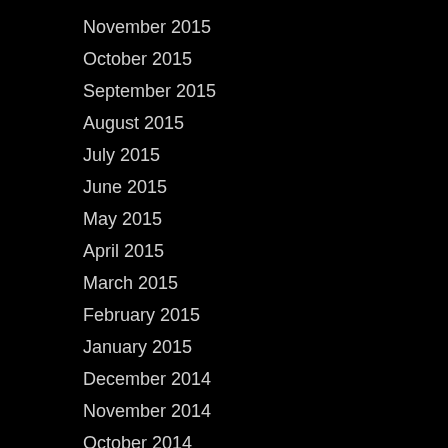November 2015
October 2015
September 2015
August 2015
July 2015
June 2015
May 2015
April 2015
March 2015
February 2015
January 2015
December 2014
November 2014
October 2014